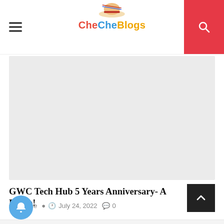CeCheBlogs
[Figure (photo): Light gray placeholder rectangle representing a hero/featured image area for the blog article]
GWC Tech Hub 5 Years Anniversary- A Bomb!
by Neche  July 24, 2022  0